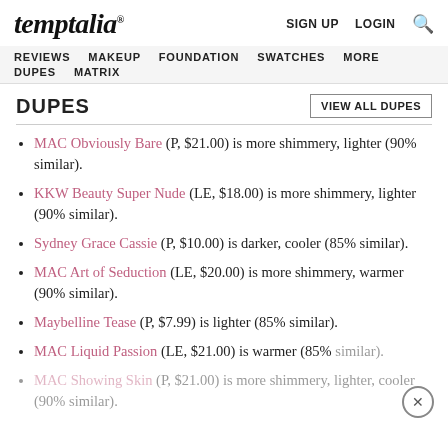temptalia® | SIGN UP  LOGIN  🔍
REVIEWS  MAKEUP  FOUNDATION  SWATCHES  MORE  DUPES  MATRIX
DUPES
MAC Obviously Bare (P, $21.00) is more shimmery, lighter (90% similar).
KKW Beauty Super Nude (LE, $18.00) is more shimmery, lighter (90% similar).
Sydney Grace Cassie (P, $10.00) is darker, cooler (85% similar).
MAC Art of Seduction (LE, $20.00) is more shimmery, warmer (90% similar).
Maybelline Tease (P, $7.99) is lighter (85% similar).
MAC Liquid Passion (LE, $21.00) is warmer (85% similar).
MAC Showing Skin (P, $21.00) is more shimmery, lighter, cooler (90% similar).